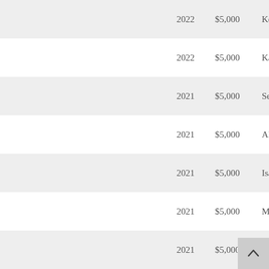|  | Year | Amount | Name |
| --- | --- | --- | --- |
|  | 2022 | $5,000 | Kennethe... |
|  | 2022 | $5,000 | Kate With... |
|  | 2021 | $5,000 | Sean Alco... |
|  | 2021 | $5,000 | Alexandra... |
|  | 2021 | $5,000 | Isabella B... |
|  | 2021 | $5,000 | Mary Fen... |
|  | 2021 | $5,000 | Austin H... |